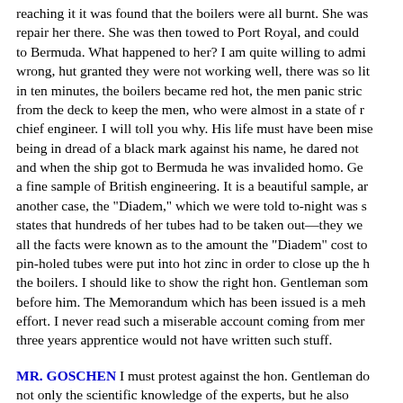reaching it it was found that the boilers were all burnt. She was repair her there. She was then towed to Port Royal, and could to Bermuda. What happened to her? I am quite willing to admi wrong, hut granted they were not working well, there was so lit in ten minutes, the boilers became red hot, the men panic stric from the deck to keep the men, who were almost in a state of r chief engineer. I will toll you why. His life must have been mise being in dread of a black mark against his name, he dared not and when the ship got to Bermuda he was invalided homo. Ge a fine sample of British engineering. It is a beautiful sample, ar another case, the "Diadem," which we were told to-night was s states that hundreds of her tubes had to be taken out—they we all the facts were known as to the amount the "Diadem" cost to pin-holed tubes were put into hot zinc in order to close up the h the boilers. I should like to show the right hon. Gentleman som before him. The Memorandum which has been issued is a meh effort. I never read such a miserable account coming from mer three years apprentice would not have written such stuff.
MR. GOSCHEN I must protest against the hon. Gentleman do not only the scientific knowledge of the experts, but he also